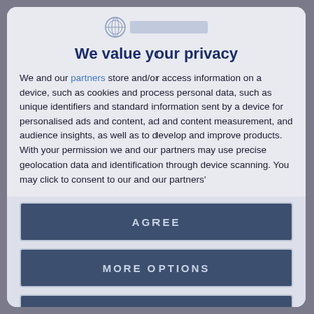[Figure (logo): Organization logo with circular emblem and blurred text bar]
We value your privacy
We and our partners store and/or access information on a device, such as cookies and process personal data, such as unique identifiers and standard information sent by a device for personalised ads and content, ad and content measurement, and audience insights, as well as to develop and improve products. With your permission we and our partners may use precise geolocation data and identification through device scanning. You may click to consent to our and our partners'
AGREE
MORE OPTIONS
DISAGREE